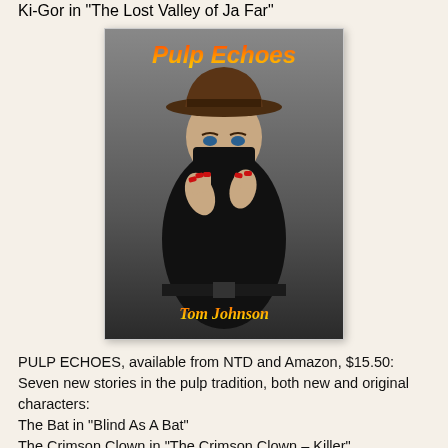Ki-Gor in "The Lost Valley of Ja Far"
[Figure (illustration): Book cover for 'Pulp Echoes' by Tom Johnson. A woman in a black coat and cowboy hat with her face partially covered by a black scarf, hands raised. Title text 'Pulp Echoes' in orange/yellow gradient at top, author name 'Tom Johnson' in orange/yellow gradient at bottom.]
PULP ECHOES, available from NTD and Amazon, $15.50: Seven new stories in the pulp tradition, both new and original characters: The Bat in "Blind As A Bat" The Crimson Clown in "The Crimson Clown – Killer"